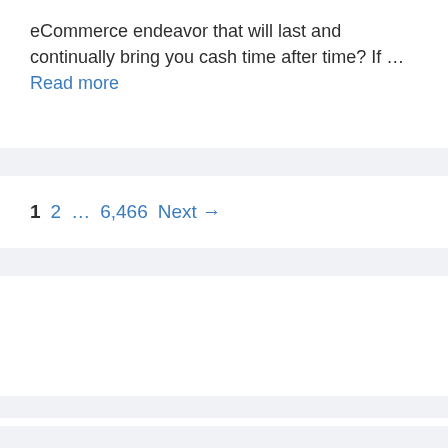eCommerce endeavor that will last and continually bring you cash time after time? If … Read more
1  2  …  6,466  Next →